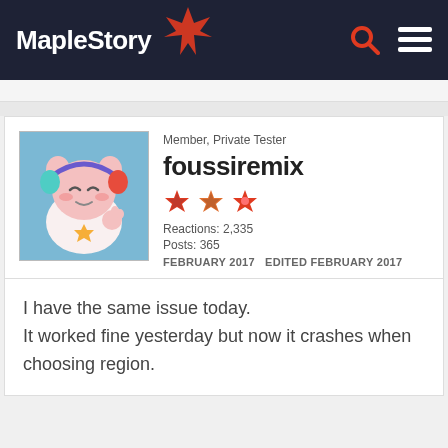MapleStory
Member, Private Tester
foussiremix
Reactions: 2,335
Posts: 365
FEBRUARY 2017   EDITED FEBRUARY 2017
I have the same issue today.
It worked fine yesterday but now it crashes when choosing region.